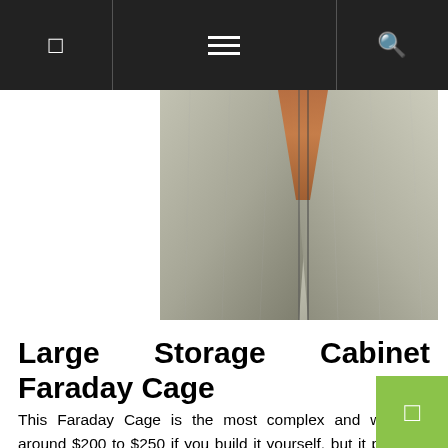Navigation bar with menu icons
[Figure (photo): Close-up photo of corner joints of a metal Faraday cage storage cabinet, showing textured gray metal panels meeting at V-shaped joints with a wooden interior visible]
Large Storage Cabinet Faraday Cage
This Faraday Cage is the most complex and will cost around $200 to $250 if you build it yourself, but it provides greater storage capacity and extreme protection. The size of the metal cage itself is 36″ wide by 31.5″ deep and about 85″ high. The exterior size is slightly larger since 1.5″ by 3.5″ two by fours